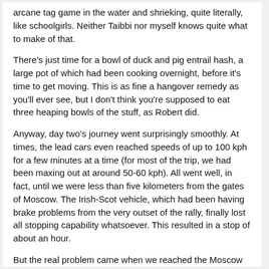arcane tag game in the water and shrieking, quite literally, like schoolgirls. Neither Taibbi nor myself knows quite what to make of that.
There's just time for a bowl of duck and pig entrail hash, a large pot of which had been cooking overnight, before it's time to get moving. This is as fine a hangover remedy as you'll ever see, but I don't think you're supposed to eat three heaping bowls of the stuff, as Robert did.
Anyway, day two's journey went surprisingly smoothly. At times, the lead cars even reached speeds of up to 100 kph for a few minutes at a time (for most of the trip, we had been maxing out at around 50-60 kph). All went well, in fact, until we were less than five kilometers from the gates of Moscow. The Irish-Scot vehicle, which had been having brake problems from the very outset of the rally, finally lost all stopping capability whatsoever. This resulted in a stop of about an hour.
But the real problem came when we reached the Moscow GAI post. Predictably, our assigned escort wanted an extra $100 to take us to Manezhnaya ploshchad, since the papers we had received only specified our final destination outside the Tsirk club on Tsvetnoi bulvar. But then this should surprise no one who has been in Russia longer than a week. You pay $200 for a 2-day 2-car police escort traversing 500 km, but then you have to pay $300 just for a single car to take you that last 30 km into the capital. The greedy bastards -- where's their sense of nostalgia?
Still, once the money was paid, the officer obligingly took us for a triumphant crawl down Tverskaya to the Manezh, where we parked for 15